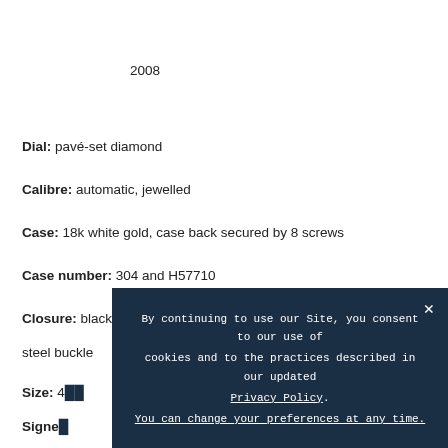2008
Dial: pavé-set diamond
Calibre: automatic, jewelled
Case: 18k white gold, case back secured by 8 screws
Case number: 304 and H57710
Closure: black Audemars Piguet alligator strap and stainless steel buckle
Size: 4[obscured]
Signed[obscured]
By continuing to use our Site, you consent to our use of cookies and to the practices described in our updated Privacy Policy. You can change your preferences at any time.